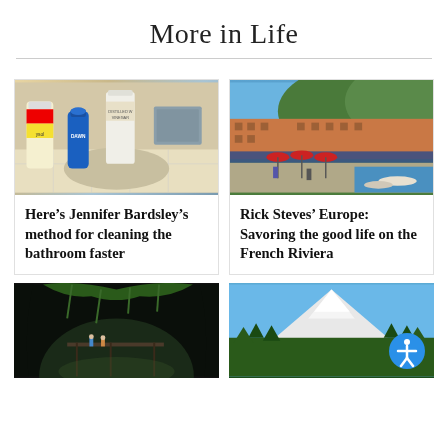More in Life
[Figure (photo): Lysol, Dawn dish soap, and distilled white vinegar bottles on a bathroom counter]
Here’s Jennifer Bardsley’s method for cleaning the bathroom faster
[Figure (photo): Outdoor waterfront cafe on the French Riviera with red umbrellas and colorful buildings on hillside]
Rick Steves’ Europe: Savoring the good life on the French Riviera
[Figure (photo): Dark cave interior with green moss and people visible]
[Figure (photo): Snow-capped mountain peak with blue sky and green trees in foreground]